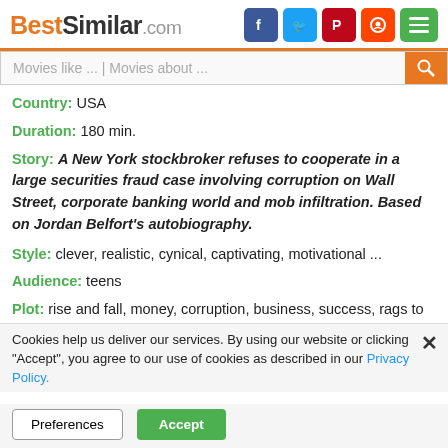BestSimilar.com
Movies like ... | Movies about ...
Country: USA
Duration: 180 min.
Story: A New York stockbroker refuses to cooperate in a large securities fraud case involving corruption on Wall Street, corporate banking world and mob infiltration. Based on Jordan Belfort's autobiography.
Style: clever, realistic, cynical, captivating, motivational ...
Audience: teens
Plot: rise and fall, money, corruption, business, success, rags to riches, dark humor, wealth, corporate crimes, yuppie, stock market, american dream ...
Time: 90s, 80s, 20th century, year 1987, year 1983
Cookies help us deliver our services. By using our website or clicking "Accept", you agree to our use of cookies as described in our Privacy Policy.